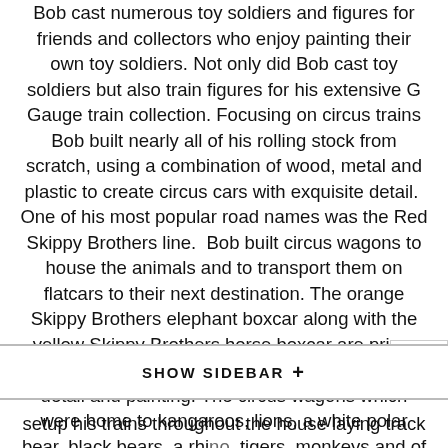Bob cast numerous toy soldiers and figures for friends and collectors who enjoy painting their own toy soldiers. Not only did Bob cast toy soldiers but also train figures for his extensive G Gauge train collection. Focusing on circus trains Bob built nearly all of his rolling stock from scratch, using a combination of wood, metal and plastic to create circus cars with exquisite detail.  One of his most popular road names was the Red Skippy Brothers line.  Bob built circus wagons to house the animals and to transport them on flatcars to their next destination. The orange Skippy Brothers elephant boxcar along with the yellow Skippy Brothers horse boxcar are prime examples of the attention given to scratch building detail and painting. The circus wagons which were home to kangaroos, lions, a white polar bear, black bears, a rhino, tigers, monkeys and of course a giraffe exhibit showcase the workmenshin of Bob's skill for
SHOW SIDEBAR +
setup his trains throughout the house laying track